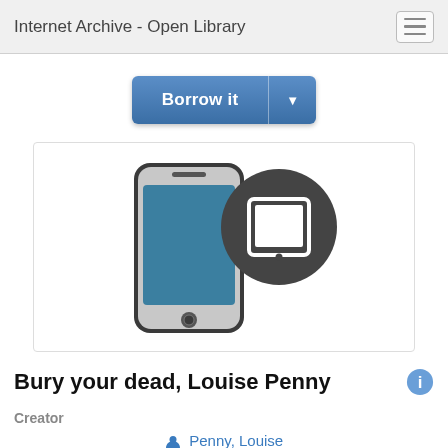Internet Archive - Open Library
[Figure (illustration): A 'Borrow it' button with a dropdown arrow, styled in blue, and below it an image box showing a smartphone icon with a teal screen and a dark circular tablet/e-reader icon overlapping it top-right.]
Bury your dead, Louise Penny
Creator
Penny, Louise